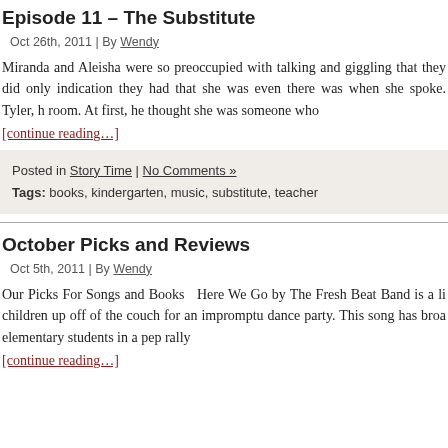Episode 11 – The Substitute
Oct 26th, 2011 | By Wendy
Miranda and Aleisha were so preoccupied with talking and giggling that they did only indication they had that she was even there was when she spoke. Tyler, h room. At first, he thought she was someone who
[continue reading…]
Posted in Story Time | No Comments »
Tags: books, kindergarten, music, substitute, teacher
October Picks and Reviews
Oct 5th, 2011 | By Wendy
Our Picks For Songs and Books  Here We Go by The Fresh Beat Band is a li children up off of the couch for an impromptu dance party. This song has broa elementary students in a pep rally
[continue reading…]